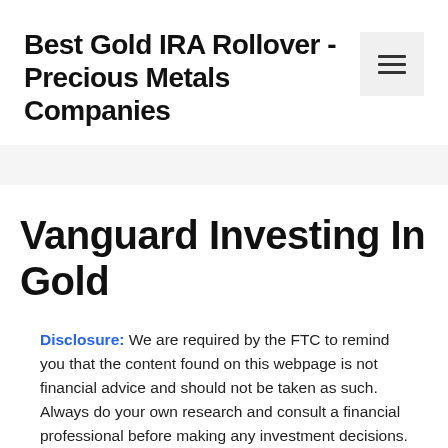Best Gold IRA Rollover - Precious Metals Companies
Vanguard Investing In Gold
Disclosure: We are required by the FTC to remind you that the content found on this webpage is not financial advice and should not be taken as such. Always do your own research and consult a financial professional before making any investment decisions. The owners of this website may